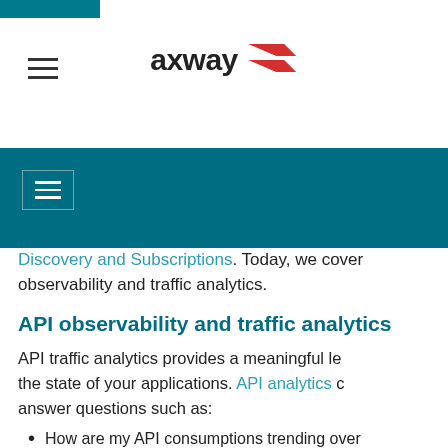[Figure (logo): Axway logo with red arrow icon and hamburger menu top-left, teal corner decoration]
[Figure (screenshot): Teal navigation bar with hamburger menu button]
Discovery and Subscriptions. Today, we cover observability and traffic analytics.
API observability and traffic analytics
API traffic analytics provides a meaningful lens into the state of your applications. API analytics can answer questions such as:
How are my API consumptions trending over time?
Which apps consume the most and least API...